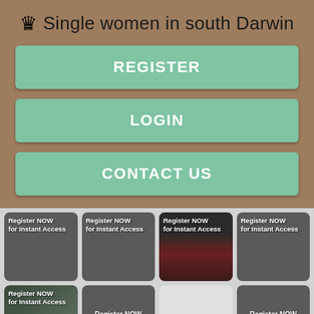👑 Single women in south Darwin
REGISTER
LOGIN
CONTACT US
[Figure (screenshot): Grid of 8 thumbnail images (some showing people, most dark grey placeholders) each labeled 'Register NOW for Instant Access']